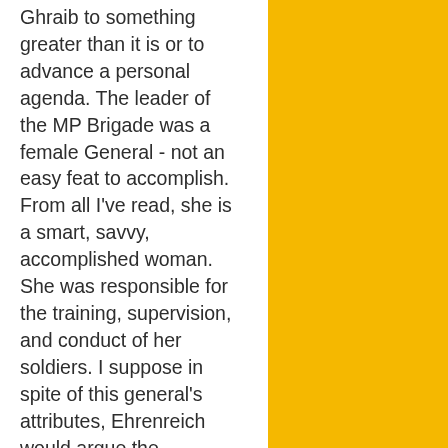Ghraib to something greater than it is or to advance a personal agenda. The leader of the MP Brigade was a female General - not an easy feat to accomplish. From all I've read, she is a smart, savvy, accomplished woman. She was responsible for the training, supervision, and conduct of her soldiers. I suppose in spite of this general's attributes, Ehrenreich would argue the "institution" corrupted her - how convenient to have a theory that can twist any scenario to fit your conclusion. I have to agree with Hugo that I find it troubling to use words